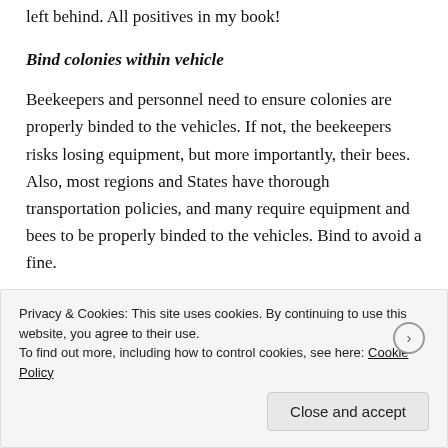left behind. All positives in my book!
Bind colonies within vehicle
Beekeepers and personnel need to ensure colonies are properly binded to the vehicles. If not, the beekeepers risks losing equipment, but more importantly, their bees. Also, most regions and States have thorough transportation policies, and many require equipment and bees to be properly binded to the vehicles. Bind to avoid a fine.
Keep bees close together during transportation
Beekeepers should also keeps bees close together when
Privacy & Cookies: This site uses cookies. By continuing to use this website, you agree to their use.
To find out more, including how to control cookies, see here: Cookie Policy